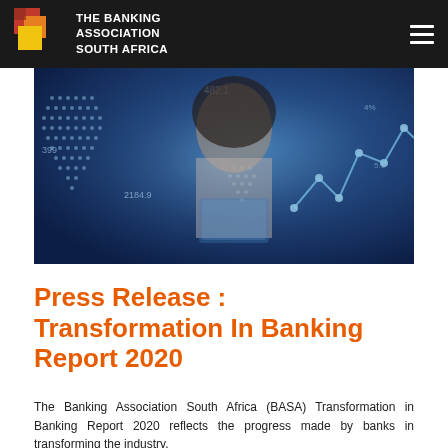THE BANKING ASSOCIATION SOUTH AFRICA
[Figure (photo): Woman smiling at a digital tablet with glowing global network data visualization overlaid, showing financial/tech data numbers like 482.1, 2184.9, 399 in blue tones]
Press Release : Transformation In Banking Report 2020
The Banking Association South Africa (BASA) Transformation in Banking Report 2020 reflects the progress made by banks in transforming the industry.